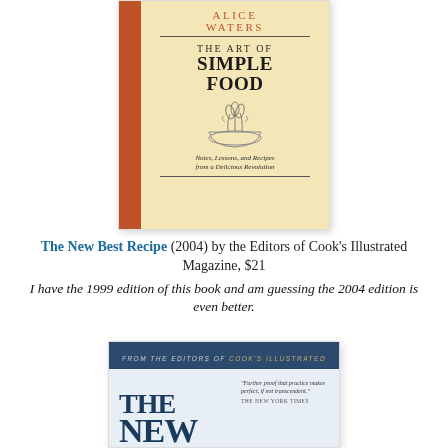[Figure (photo): Book cover of 'The Art of Simple Food' by Alice Waters. Cream/yellow background with orange spine, large bold title text, illustration of a bowl with herbs, subtitle 'Notes, Lessons, and Recipes from a Delicious Revolution'.]
The New Best Recipe (2004) by the Editors of Cook's Illustrated Magazine, $21
I have the 1999 edition of this book and am guessing the 2004 edition is even better.
[Figure (photo): Book cover of 'The New Best Recipe' by the Editors of Cook's Illustrated. Dark blue header bar reading 'FROM THE EDITORS OF COOK'S ILLUSTRATED', large blue title letters 'THE NEW' visible, with a pull quote on the right side.]